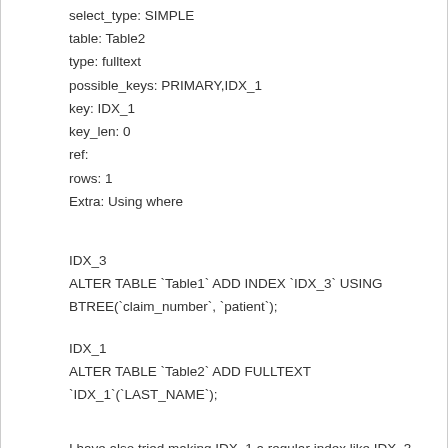select_type: SIMPLE
table: Table2
type: fulltext
possible_keys: PRIMARY,IDX_1
key: IDX_1
key_len: 0
ref:
rows: 1
Extra: Using where
IDX_3
ALTER TABLE `Table1` ADD INDEX `IDX_3` USING BTREE(`claim_number`, `patient`);
IDX_1
ALTER TABLE `Table2` ADD FULLTEXT `IDX_1`(`LAST_NAME`);
I have also tried making IDX_1 a regular index like IDX_3 is with the LAST_NAME column.